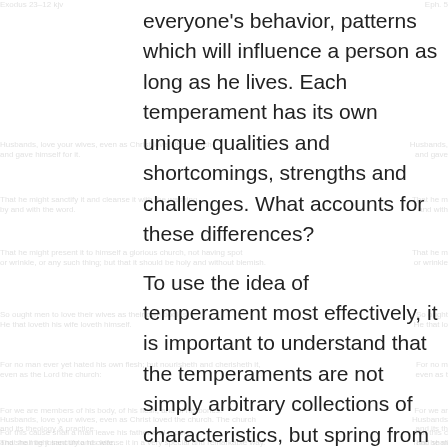everyone's behavior, patterns which will influence a person as long as he lives. Each temperament has its own unique qualities and shortcomings, strengths and challenges. What accounts for these differences?
To use the idea of temperament most effectively, it is important to understand that the temperaments are not simply arbitrary collections of characteristics, but spring from an interaction of the two basic dimensions of human behavior: our communication and our action, our words and our deeds, or, simply,
what we say and what we do.